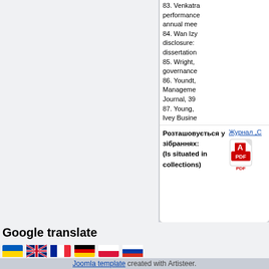83. Venkatra... performance... annual mee...
84. Wan Izy... disclosure:... dissertation...
85. Wright, ... governance...
86. Youndt, ... Management... Journal, 39...
87. Young, ... Ivey Busine...
Розташовується у зібраннях:
(Is situated in collections)
Журнал „С...
[Figure (other): PDF icon - red Adobe PDF logo with PDF text below]
Google translate
[Figure (other): Row of country flag icons: Ukraine, UK, France, Germany, Poland, Russia]
Joomla template created with Artisteer.